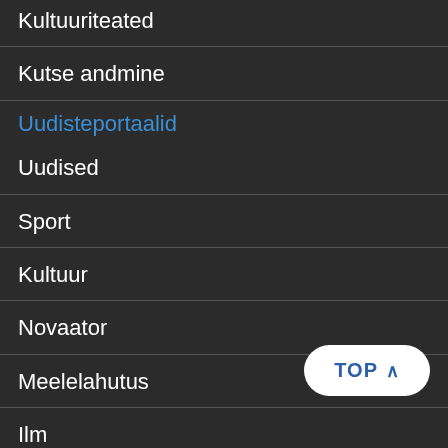Kultuuriteated
Kutse andmine
Uudisteportaalid
Uudised
Sport
Kultuur
Novaator
Meelelahutus
Ilm
rus.err.ee
news.err.ee